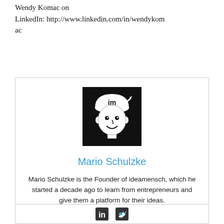Wendy Komac on
LinkedIn: http://www.linkedin.com/in/wendykomac
[Figure (illustration): Black and white cartoon illustration of a person wearing a cap with 'im' text on it, smiling. Used as avatar/logo for Mario Schulzke / ideamensch.]
Mario Schulzke
Mario Schulzke is the Founder of ideamensch, which he started a decade ago to learn from entrepreneurs and give them a platform for their ideas.
[Figure (logo): LinkedIn and Twitter social media icons at the bottom of the card.]